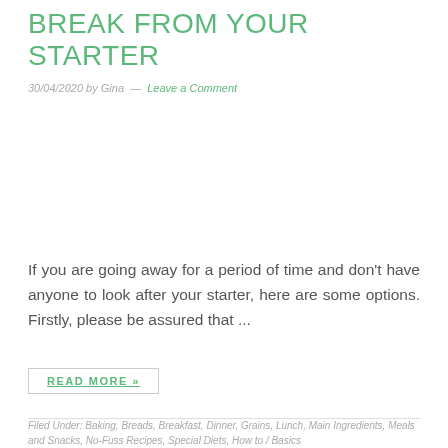BREAK FROM YOUR STARTER
30/04/2020 by Gina — Leave a Comment
If you are going away for a period of time and don't have anyone to look after your starter, here are some options. Firstly, please be assured that ...
READ MORE »
Filed Under: Baking, Breads, Breakfast, Dinner, Grains, Lunch, Main Ingredients, Meals and Snacks, No-Fuss Recipes, Special Diets, How to / Basics